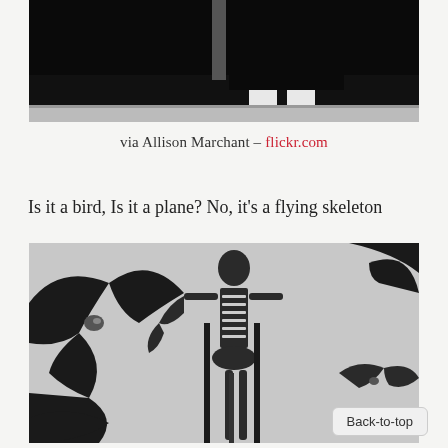[Figure (photo): Black and white photo showing the lower half of a person sitting, dressed in dark clothing with black shoes, white legs visible, against a dark background]
via Allison Marchant – flickr.com
Is it a bird, Is it a plane? No, it's a flying skeleton
[Figure (photo): Black and white image of a human skeleton figure with large bat silhouettes surrounding it, Halloween-style illustration]
Back-to-top